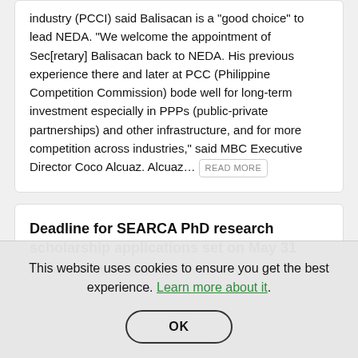industry (PCCI) said Balisacan is a "good choice" to lead NEDA. "We welcome the appointment of Sec[retary] Balisacan back to NEDA. His previous experience there and later at PCC (Philippine Competition Commission) bode well for long-term investment especially in PPPs (public-private partnerships) and other infrastructure, and for more competition across industries," said MBC Executive Director Coco Alcuaz. Alcuaz... READ MORE
Deadline for SEARCA PhD research scholarship applications set on May 31
25 May 2022, Wednesday
This website uses cookies to ensure you get the best experience. Learn more about it.